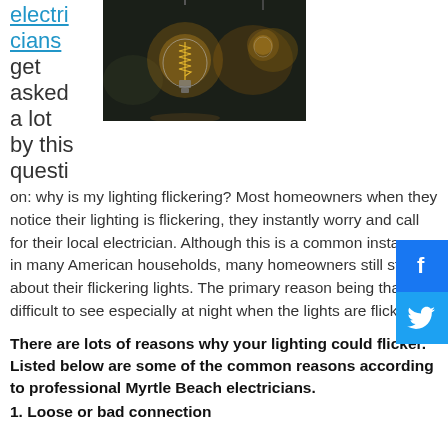electricians get asked a lot by this question: why is my lighting flickering? Most homeowners when they notice their lighting is flickering, they instantly worry and call for their local electrician. Although this is a common instance in many American households, many homeowners still stress about their flickering lights. The primary reason being that it is difficult to see especially at night when the lights are flickering.
[Figure (photo): Close-up photo of glowing Edison/filament light bulbs hanging, warm golden light on dark background]
There are lots of reasons why your lighting could flicker. Listed below are some of the common reasons according to professional Myrtle Beach electricians.
1. Loose or bad connection